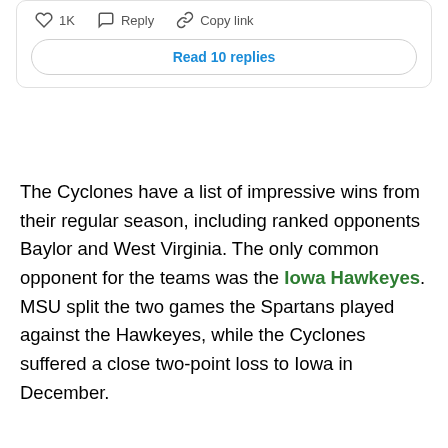[Figure (screenshot): Social media post action bar with heart icon showing 1K likes, reply icon with Reply text, and link icon with Copy link text, followed by a Read 10 replies button]
The Cyclones have a list of impressive wins from their regular season, including ranked opponents Baylor and West Virginia. The only common opponent for the teams was the Iowa Hawkeyes. MSU split the two games the Spartans played against the Hawkeyes, while the Cyclones suffered a close two-point loss to Iowa in December.